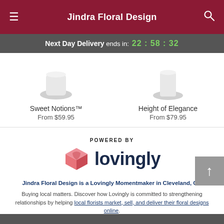Jindra Floral Design
Next Day Delivery ends in: 22 : 58 : 32
Sweet Notions™
From $59.95
Height of Elegance
From $79.95
[Figure (logo): Lovingly logo with pink heart/box icon and dark navy text reading 'lovingly', with 'POWERED BY' label above]
Jindra Floral Design is a Lovingly Momentmaker in Cleveland, OH
Buying local matters. Discover how Lovingly is committed to strengthening relationships by helping local florists market, sell, and deliver their floral designs online.